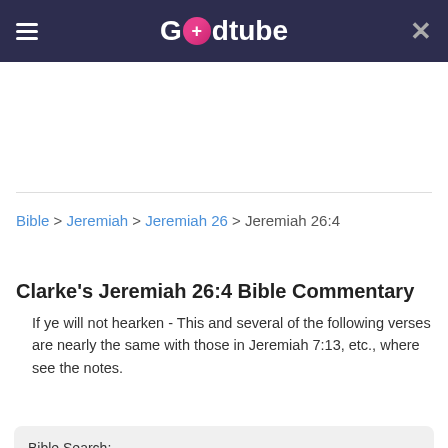Godtube
Bible > Jeremiah > Jeremiah 26 > Jeremiah 26:4
Clarke's Jeremiah 26:4 Bible Commentary
If ye will not hearken - This and several of the following verses are nearly the same with those in Jeremiah 7:13, etc., where see the notes.
Bible Search:
(e.g., John 3:16, Romans 8, Moses)
Powered by Bible Study Tools